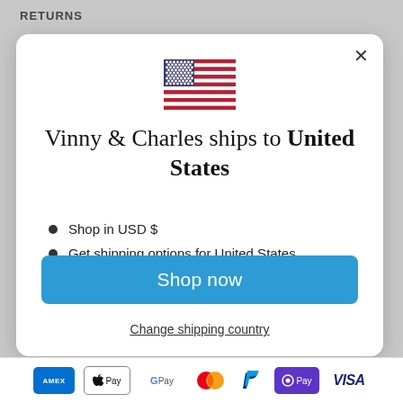RETURNS
[Figure (illustration): US flag emoji/icon displayed at the top center of the modal dialog]
Vinny & Charles ships to United States
Shop in USD $
Get shipping options for United States
Shop now
Change shipping country
AMEX  Apple Pay  G Pay  Mastercard  PayPal  OPay  VISA